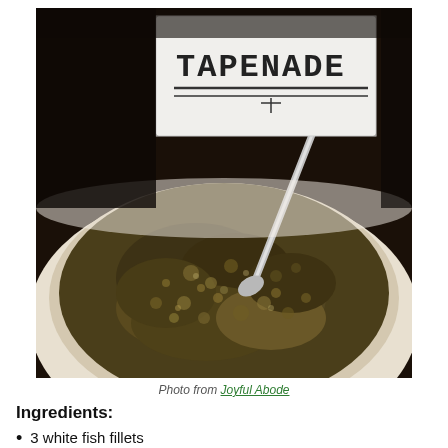[Figure (photo): A white bowl filled with tapenade (olive spread), with a spoon inside and a card reading 'TAPENADE' in the background. Dark background.]
Photo from Joyful Abode
Ingredients:
3 white fish fillets
1/4 cup lemon juice